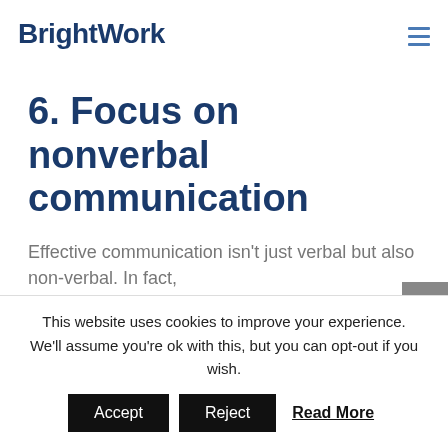BrightWork
6. Focus on nonverbal communication
Effective communication isn't just verbal but also non-verbal. In fact,
This website uses cookies to improve your experience. We'll assume you're ok with this, but you can opt-out if you wish.